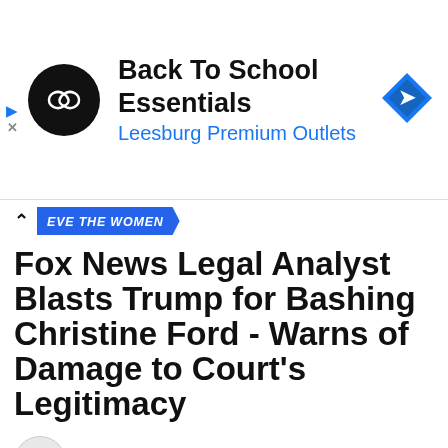[Figure (screenshot): Advertisement banner for Back To School Essentials at Leesburg Premium Outlets, showing a circular black logo with infinity-like arrows, the ad text, and a blue diamond navigation icon on the right.]
EVE THE WOMEN
Fox News Legal Analyst Blasts Trump for Bashing Christine Ford - Warns of Damage to Court's Legitimacy
Published 4 years ago on October 9, 2018
By Brad Reed – Raw Story
[Figure (photo): Partial photo of a man's head and face, cropped at the bottom of the page, with a blurred background showing gold and blue bars on the left side.]